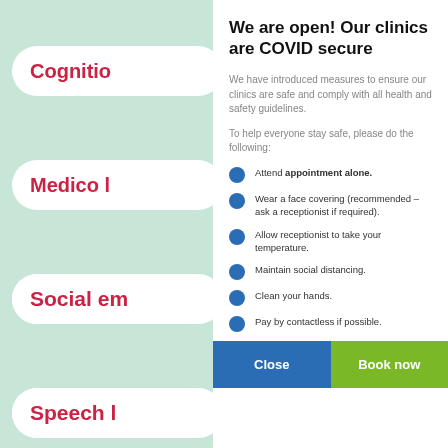We are open! Our clinics are COVID secure
We have introduced measures to ensure our clinics are safe and comply with all health and safety guidelines.
To help everyone stay safe, please do the following:
Attend appointment alone.
Wear a face covering (recommended – ask a receptionist if required).
Allow receptionist to take your temperature.
Maintain social distancing.
Clean your hands.
Pay by contactless if possible.